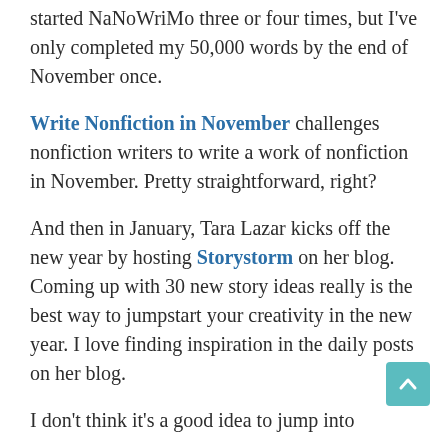started NaNoWriMo three or four times, but I've only completed my 50,000 words by the end of November once.
Write Nonfiction in November challenges nonfiction writers to write a work of nonfiction in November. Pretty straightforward, right?
And then in January, Tara Lazar kicks off the new year by hosting Storystorm on her blog. Coming up with 30 new story ideas really is the best way to jumpstart your creativity in the new year. I love finding inspiration in the daily posts on her blog.
I don't think it's a good idea to jump into